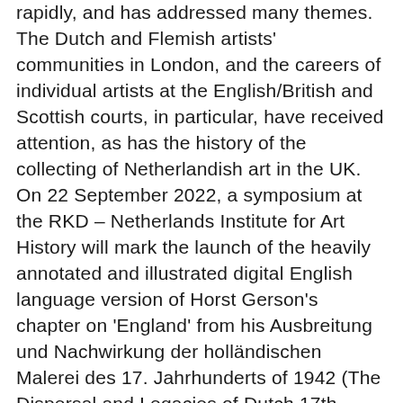rapidly, and has addressed many themes. The Dutch and Flemish artists' communities in London, and the careers of individual artists at the English/British and Scottish courts, in particular, have received attention, as has the history of the collecting of Netherlandish art in the UK.
On 22 September 2022, a symposium at the RKD – Netherlands Institute for Art History will mark the launch of the heavily annotated and illustrated digital English language version of Horst Gerson's chapter on 'England' from his Ausbreitung und Nachwirkung der holländischen Malerei des 17. Jahrhunderts of 1942 (The Dispersal and Legacies of Dutch 17th-Century Painting). For historians of Dutch 17th-century painting, in 1942, Gerson's study of the integration of Dutch art in Britain was largely uncharted territory, although earlier British art historians, including Horace Walpole and C.H. Collins Baker, had been well aware of the involvement of Netherlandish migrants and visitors in art in the British Isles. The launch of the